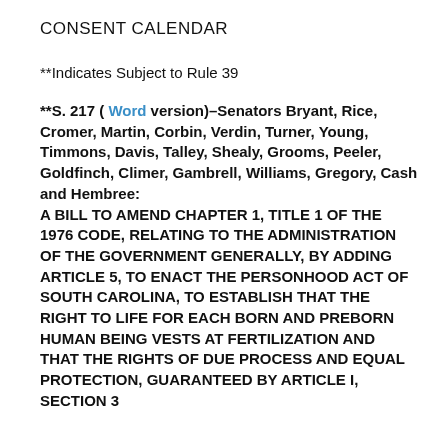CONSENT CALENDAR
**Indicates Subject to Rule 39
**S. 217 ( Word version)–Senators Bryant, Rice, Cromer, Martin, Corbin, Verdin, Turner, Young, Timmons, Davis, Talley, Shealy, Grooms, Peeler, Goldfinch, Climer, Gambrell, Williams, Gregory, Cash and Hembree: A BILL TO AMEND CHAPTER 1, TITLE 1 OF THE 1976 CODE, RELATING TO THE ADMINISTRATION OF THE GOVERNMENT GENERALLY, BY ADDING ARTICLE 5, TO ENACT THE PERSONHOOD ACT OF SOUTH CAROLINA, TO ESTABLISH THAT THE RIGHT TO LIFE FOR EACH BORN AND PREBORN HUMAN BEING VESTS AT FERTILIZATION AND THAT THE RIGHTS OF DUE PROCESS AND EQUAL PROTECTION, GUARANTEED BY ARTICLE I, SECTION 3